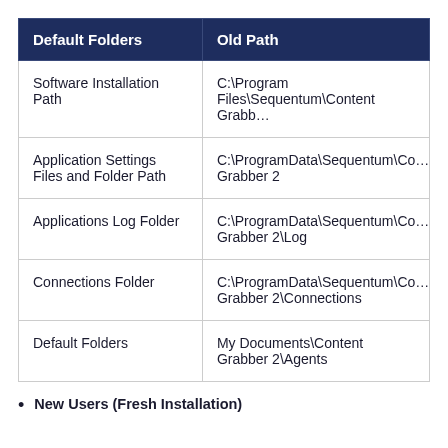| Default Folders | Old Path |
| --- | --- |
| Software Installation Path | C:\Program Files\Sequentum\Content Grabb… |
| Application Settings Files and Folder Path | C:\ProgramData\Sequentum\Co… Grabber 2 |
| Applications Log Folder | C:\ProgramData\Sequentum\Co… Grabber 2\Log |
| Connections Folder | C:\ProgramData\Sequentum\Co… Grabber 2\Connections |
| Default Folders | My Documents\Content Grabber 2\Agents |
New Users (Fresh Installation)